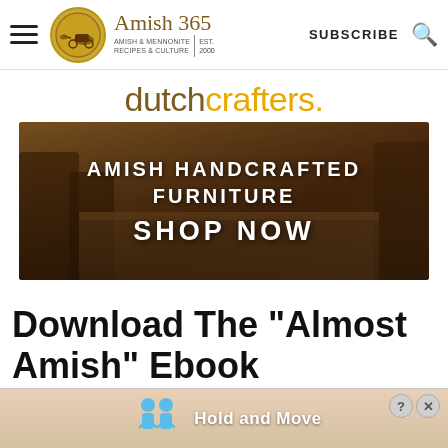Amish 365 — AMISH & MENNONITE RECIPES & CULTURE | EST. 2000 | SUBSCRIBE
[Figure (screenshot): DutchCrafters advertisement banner with logo text 'dutchcrafters.' and furniture image with text 'AMISH HANDCRAFTED FURNITURE SHOP NOW']
Download The "Almost Amish" Ebook
[Figure (infographic): Bottom advertisement strip with figures icons and text 'Hold and Move', with help and close buttons]